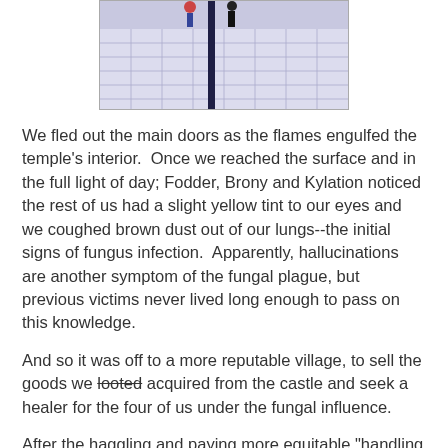[Figure (photo): Partial photo showing a tiled floor with a dark vertical pole/stripe and two small figures at the top, viewed from above.]
We fled out the main doors as the flames engulfed the temple's interior.  Once we reached the surface and in the full light of day; Fodder, Brony and Kylation noticed the rest of us had a slight yellow tint to our eyes and we coughed brown dust out of our lungs--the initial signs of fungus infection.  Apparently, hallucinations are another symptom of the fungal plague, but previous victims never lived long enough to pass on this knowledge.
And so it was off to a more reputable village, to sell the goods we looted acquired from the castle and seek a healer for the four of us under the fungal influence.
After the haggling and paying more equitable "handling charges," each of us earned over 2,000 gold pieces. Although the four of us suffering from fungus infection ended up being a couple hundred gold pieces poorer after making a